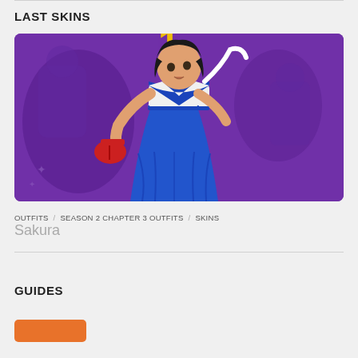LAST SKINS
[Figure (illustration): Fortnite character Sakura skin — a female character in a blue sailor school uniform with red boxing gloves, posed against a purple background with faint character silhouettes]
OUTFITS / SEASON 2 CHAPTER 3 OUTFITS / SKINS
Sakura
GUIDES